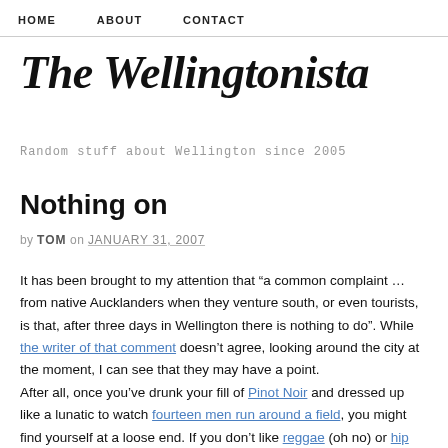HOME   ABOUT   CONTACT
The Wellingtonista
Random stuff about Wellington since 2005
Nothing on
by TOM on JANUARY 31, 2007
It has been brought to my attention that “a common complaint … from native Aucklanders when they venture south, or even tourists, is that, after three days in Wellington there is nothing to do”. While the writer of that comment doesn’t agree, looking around the city at the moment, I can see that they may have a point.
After all, once you’ve drunk your fill of Pinot Noir and dressed up like a lunatic to watch fourteen men run around a field, you might find yourself at a loose end. If you don’t like reggae (oh no) or hip hop culture, Asia-Pacific musical fusions, rock music, dance or